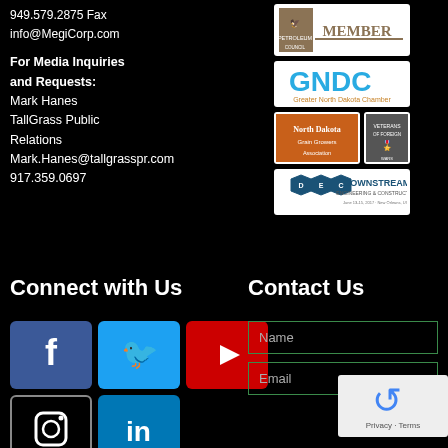949.579.2875 Fax
info@MegiCorp.com
For Media Inquiries and Requests:
Mark Hanes
TallGrass Public Relations
Mark.Hanes@tallgrasspr.com
917.359.0697
[Figure (logo): Petroleum Council Member logo]
[Figure (logo): GNDC Greater North Dakota Chamber logo]
[Figure (logo): North Dakota Grain Growers Association logo]
[Figure (logo): Veterans logo]
[Figure (logo): DEC Downstream Engineering & Construction logo]
Connect with Us
Contact Us
[Figure (infographic): Social media icons: Facebook, Twitter, YouTube, Instagram, LinkedIn]
[Figure (other): Contact form with Name and Email fields and reCAPTCHA]